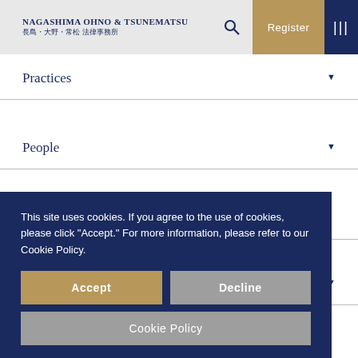Nagashima Ohno & Tsunematsu 長島・大野・常松 法律事務所
Practices
People
Seminars
Publications
This site uses cookies. If you agree to the use of cookies, please click "Accept." For more information, please refer to our Cookie Policy.
Accept
Decline
Cookie Policy